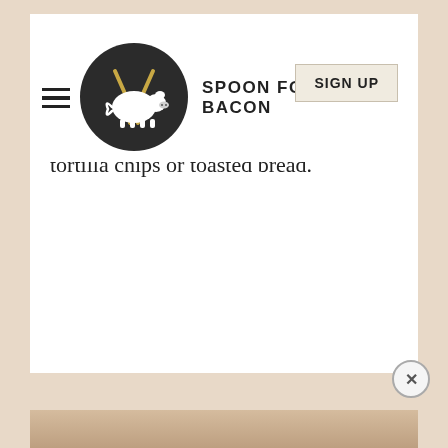SPOON FORK BACON | SIGN UP
tortilla chips or toasted bread.